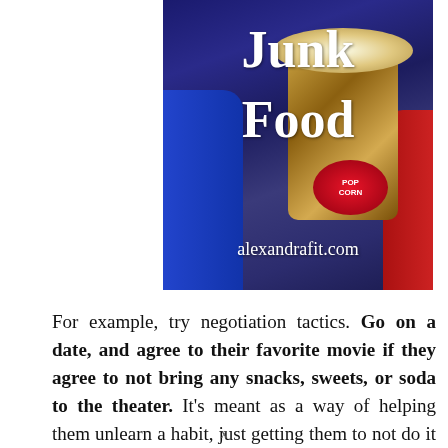[Figure (photo): Photo of a person holding a decorative popcorn bag at a movie theater, overlaid with large white text reading 'Junk Food' and the URL 'alexandrafit.com']
For example, try negotiation tactics. Go on a date, and agree to their favorite movie if they agree to not bring any snacks, sweets, or soda to the theater. It's meant as a way of helping them unlearn a habit, just getting them to not do it in